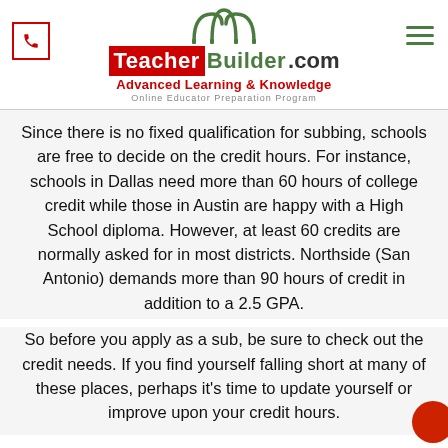[Figure (logo): TeacherBuilder.com logo with arch graphic, phone icon box on left, hamburger menu on right, red Teacher on white background, green Builder, taglines Advanced Learning & Knowledge and Online Educator Preparation Program]
Since there is no fixed qualification for subbing, schools are free to decide on the credit hours. For instance, schools in Dallas need more than 60 hours of college credit while those in Austin are happy with a High School diploma. However, at least 60 credits are normally asked for in most districts. Northside (San Antonio) demands more than 90 hours of credit in addition to a 2.5 GPA.
So before you apply as a sub, be sure to check out the credit needs. If you find yourself falling short at many of these places, perhaps it’s time to update yourself or improve upon your credit hours.